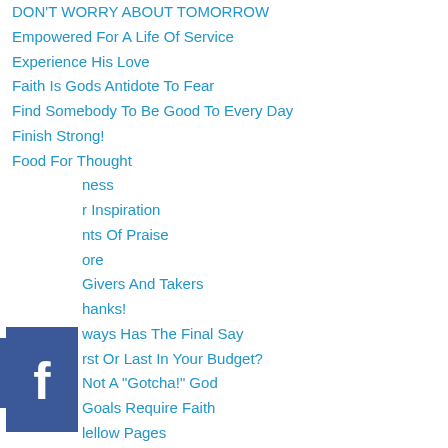DON'T WORRY ABOUT TOMORROW
Empowered For A Life Of Service
Experience His Love
Faith Is Gods Antidote To Fear
Find Somebody To Be Good To Every Day
Finish Strong!
Food For Thought
…ness
…r Inspiration
…nts Of Praise
…ore
Givers And Takers
…hanks!
…ways Has The Final Say
…rst Or Last In Your Budget?
…Not A "Gotcha!" God
…Goals Require Faith
…lellow Pages
God Your Mercy Kept Me
…g Strong In The Broken Places
…lore
[Figure (logo): Facebook social media icon - blue square with white F]
[Figure (logo): Google+ social media icon - red square with white G+]
[Figure (logo): Twitter social media icon - blue square with white bird]
[Figure (logo): Pinterest social media icon - red square with white P]
[Figure (logo): Blogger social media icon - orange square with white B]
[Figure (logo): YouTube social media icon - red square with white play button]